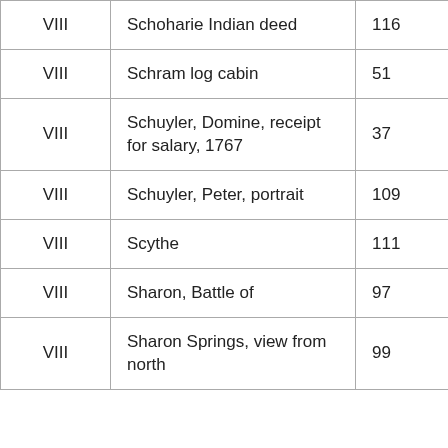| VIII | Schoharie Indian deed | 116 |
| VIII | Schram log cabin | 51 |
| VIII | Schuyler, Domine, receipt for salary, 1767 | 37 |
| VIII | Schuyler, Peter, portrait | 109 |
| VIII | Scythe | 111 |
| VIII | Sharon, Battle of | 97 |
| VIII | Sharon Springs, view from north | 99 |